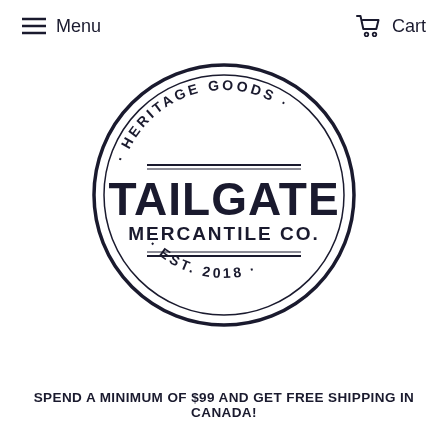Menu   Cart
[Figure (logo): Tailgate Mercantile Co. circular stamp logo with text: HERITAGE GOODS · TAILGATE MERCANTILE CO. · EST. 2018]
SPEND A MINIMUM OF $99 AND GET FREE SHIPPING IN CANADA!